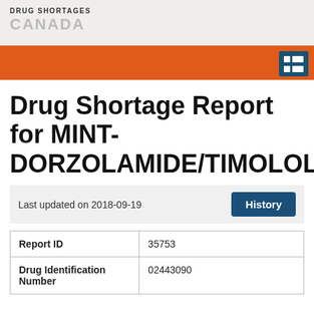DRUG SHORTAGES CANADA
Drug Shortage Report for MINT-DORZOLAMIDE/TIMOLOL
Last updated on 2018-09-19
|  |  |
| --- | --- |
| Report ID | 35753 |
| Drug Identification Number | 02443090 |